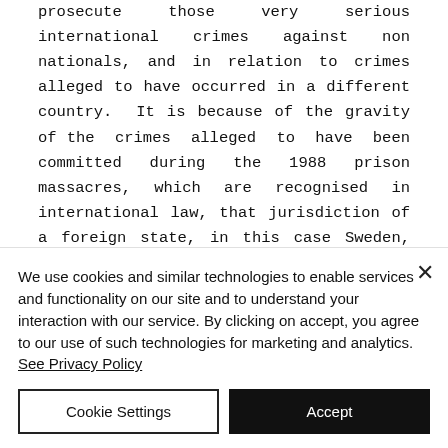prosecute those very serious international crimes against non nationals, and in relation to crimes alleged to have occurred in a different country. It is because of the gravity of the crimes alleged to have been committed during the 1988 prison massacres, which are recognised in international law, that jurisdiction of a foreign state, in this case Sweden, over a foreign national suspect such as Nouri...
We use cookies and similar technologies to enable services and functionality on our site and to understand your interaction with our service. By clicking on accept, you agree to our use of such technologies for marketing and analytics. See Privacy Policy